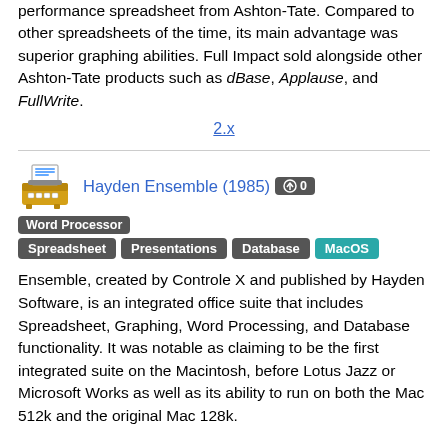performance spreadsheet from Ashton-Tate. Compared to other spreadsheets of the time, its main advantage was superior graphing abilities. Full Impact sold alongside other Ashton-Tate products such as dBase, Applause, and FullWrite.
2.x
Hayden Ensemble (1985) [icon: 0] Word Processor Spreadsheet Presentations Database MacOS
Ensemble, created by Controle X and published by Hayden Software, is an integrated office suite that includes Spreadsheet, Graphing, Word Processing, and Database functionality. It was notable as claiming to be the first integrated suite on the Macintosh, before Lotus Jazz or Microsoft Works as well as its ability to run on both the Mac 512k and the original Mac 128k.